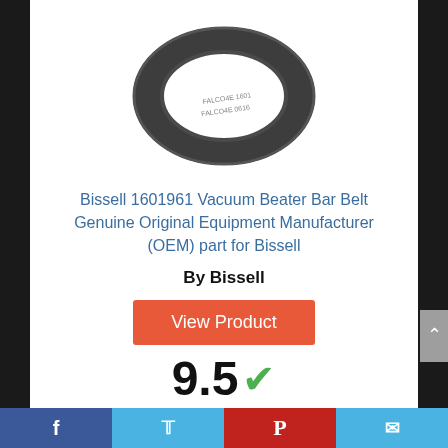[Figure (photo): Bissell vacuum beater bar belt - dark gray rubber ring/belt shown from above]
Bissell 1601961 Vacuum Beater Bar Belt Genuine Original Equipment Manufacturer (OEM) part for Bissell
By Bissell
View Product
9.5
Score
Facebook | Twitter | Pinterest | Email